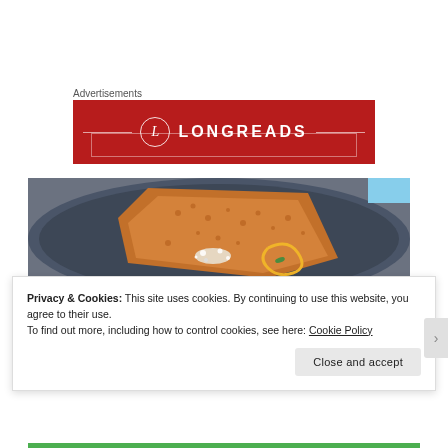Advertisements
[Figure (logo): Longreads advertisement banner with red background, circular L logo and LONGREADS text in white]
[Figure (photo): Close-up photo of a gourmet dish on a dark plate — a crispy orange latticed tuile/cracker piece with white crumbles and a yellow sauce swirl on a dark ceramic plate]
Privacy & Cookies: This site uses cookies. By continuing to use this website, you agree to their use.
To find out more, including how to control cookies, see here: Cookie Policy
Close and accept